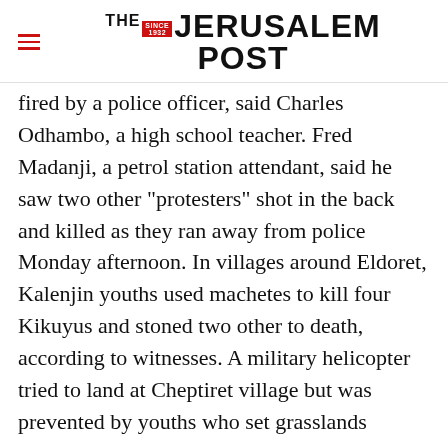THE JERUSALEM POST
fired by a police officer, said Charles Odhambo, a high school teacher. Fred Madanji, a petrol station attendant, said he saw two other "protesters" shot in the back and killed as they ran away from police Monday afternoon. In villages around Eldoret, Kalenjin youths used machetes to kill four Kikuyus and stoned two other to death, according to witnesses. A military helicopter tried to land at Cheptiret village but was prevented by youths who set grasslands
Advertisement